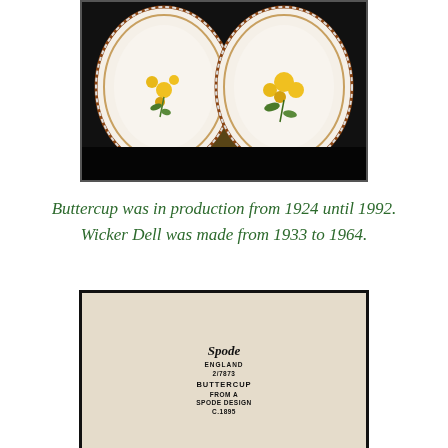[Figure (photo): Photograph of two decorative plates with floral (buttercup) pattern, placed side by side with decorative borders, on a dark background.]
Buttercup was in production from 1924 until 1992. Wicker Dell was made from 1933 to 1964.
[Figure (photo): Photograph of the back of a Spode plate showing the maker's mark stamp: 'Spode ENGLAND 2/7873 BUTTERCUP FROM A SPODE DESIGN C.1895']